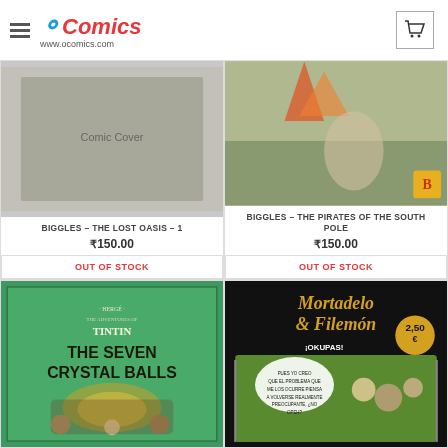[Figure (logo): OComics logo with shopping cart icon and www.ocomics.com URL]
BIGGLES – THE LOST OASIS – 1
₹150.00
OUT OF STOCK
BIGGLES – THE PIRATES OF THE SOUTH POLE
₹150.00
OUT OF STOCK
[Figure (photo): Tintin: The Seven Crystal Balls book cover – green cover with Tintin and characters]
[Figure (photo): Mortadelo & Filemon: ¡Okupas! comic cover – black cover with cartoon characters]